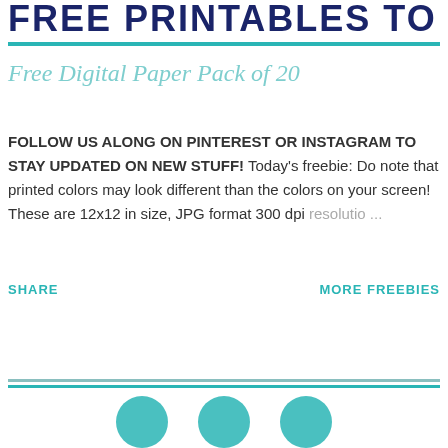FREE PRINTABLES TO
Free Digital Paper Pack of 20
FOLLOW US ALONG ON PINTEREST OR INSTAGRAM TO STAY UPDATED ON NEW STUFF! Today's freebie: Do note that printed colors may look different than the colors on your screen! These are 12x12 in size, JPG format 300 dpi resolutio ...
SHARE
MORE FREEBIES